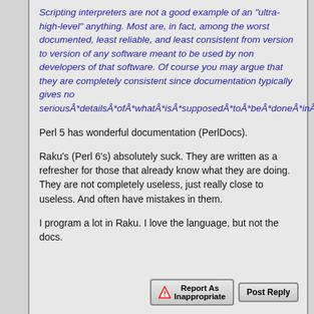Scripting interpreters are not a good example of an "ultra-high-level" anything. Most are, in fact, among the worst documented, least reliable, and least consistent from version to version of any software meant to be used by non developers of that software. Of course you may argue that they are completely consistent since documentation typically gives no seriousÂ*detailsÂ*ofÂ*whatÂ*isÂ*supposedÂ*toÂ*beÂ*doneÂ*inÂ*boundaryÂ*cases.
Perl 5 has wonderful documentation (PerlDocs).
Raku's (Perl 6's) absolutely suck. They are written as a refresher for those that already know what they are doing. They are not completely useless, just really close to useless. And often have mistakes in them.
I program a lot in Raku. I love the language, but not the docs.